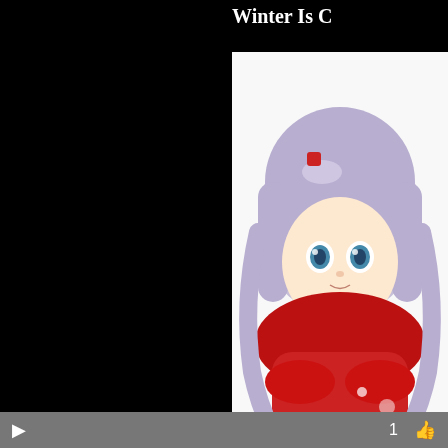Winter Is C
[Figure (illustration): Chibi anime girl with light purple/silver hair and blue eyes, wearing a red outfit, hugging something red, on white background]
Thankfully, for yo come true at All C
Is there somethin gotten the hint ar bullet and get the 800 Endoskeleton try one of our o
1